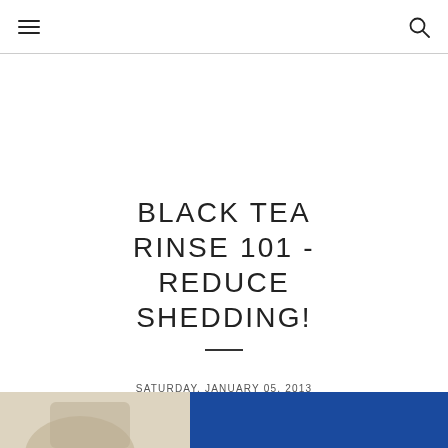[hamburger menu icon] [search icon]
BLACK TEA RINSE 101 - REDUCE SHEDDING!
SATURDAY, JANUARY 05, 2013
[Figure (photo): Bottom strip showing partial image of tea cup and blue background, bottom of page]